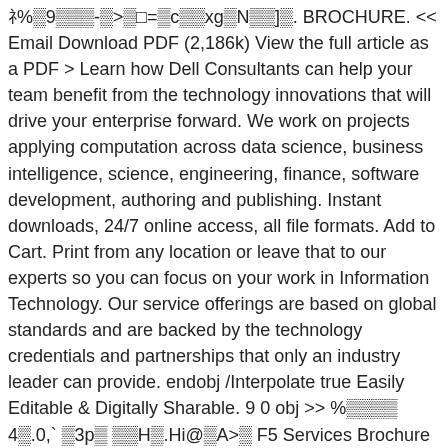ﾈ%▒9▒▒▒-▒>▒□=▒c▒▒xg▒N▒▒]▒. BROCHURE. << Email Download PDF (2,186k) View the full article as a PDF > Learn how Dell Consultants can help your team benefit from the technology innovations that will drive your enterprise forward. We work on projects applying computation across data science, business intelligence, science, engineering, finance, software development, authoring and publishing. Instant downloads, 24/7 online access, all file formats. Add to Cart. Print from any location or leave that to our experts so you can focus on your work in Information Technology. Our service offerings are based on global standards and are backed by the technology credentials and partnerships that only an industry leader can provide. endobj /Interpolate true Easily Editable & Digitally Sharable. 9 0 obj >> %▒▒▒▒ 4▒.0,` ▒3p▒ ▒▒H▒.Hi@▒A>▒ F5 Services Brochure Author: Adobe InDesign CS4 \(6.0.4\) Subject: An organization s ability to address technology challenges, pursue opportunities, and grow its business is only as effective as its IT agility. Shinya Kamagami President: Oki Electric Industry Co., Ltd. As Japan's